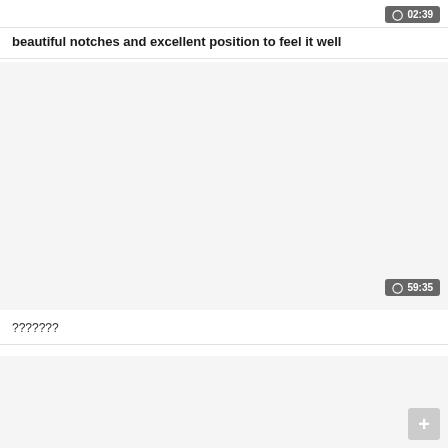02:39
beautiful notches and excellent position to feel it well
[Figure (other): Video player area, blank/light gray, showing timestamp 59:35 at bottom right]
???????
[Figure (other): Bottom section with a plus/scroll-to-top button at bottom right corner]